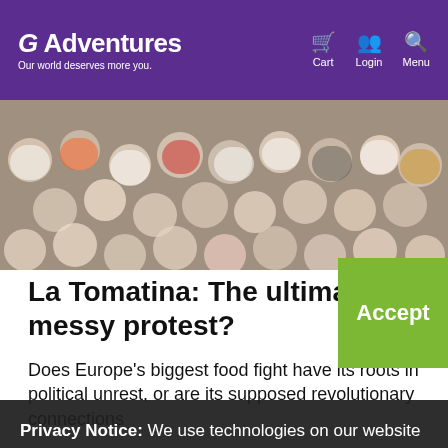G Adventures – Our world deserves more you. | Cart | Login | Menu
[Figure (photo): Aerial view of a large crowd of people packed together, overhead shot]
La Tomatina: The ultimate messy protest?
Does Europe's biggest food fight have its roots in political unrest, or are its supposed revolutionary connections
Privacy Notice: We use technologies on our website for personalizing content, advertising, providing social media features, and analyzing our traffic. We also share information about your use of our site with our social media, advertising and analytics partners. By continuing to use this website, you consent to our use of this technology. You can control this through your Privacy Options.